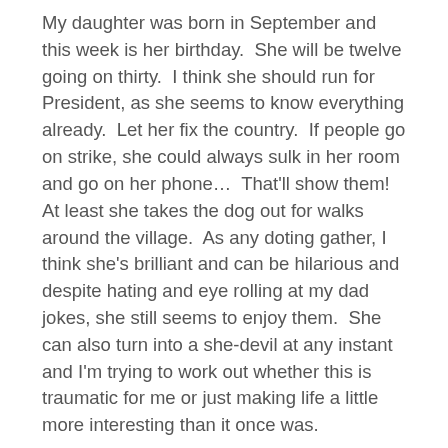My daughter was born in September and this week is her birthday.  She will be twelve going on thirty.  I think she should run for President, as she seems to know everything already.  Let her fix the country.  If people go on strike, she could always sulk in her room and go on her phone…  That'll show them!  At least she takes the dog out for walks around the village.  As any doting gather, I think she's brilliant and can be hilarious and despite hating and eye rolling at my dad jokes, she still seems to enjoy them.  She can also turn into a she-devil at any instant and I'm trying to work out whether this is traumatic for me or just making life a little more interesting than it once was.
Molly, I think I've introduced her to you, is now a deb at the grand old age of 10, and has made her grand entrance in the pub, where I can be found from time to time, enjoying a pint of overpriced Guinness.  Me, that is, not the dog.  That dog of ours is one clean living dog, or a